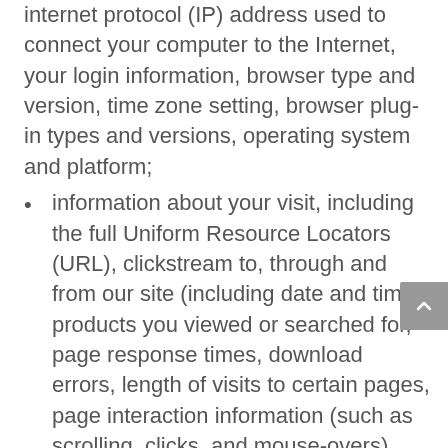internet protocol (IP) address used to connect your computer to the Internet, your login information, browser type and version, time zone setting, browser plug-in types and versions, operating system and platform;
information about your visit, including the full Uniform Resource Locators (URL), clickstream to, through and from our site (including date and time), products you viewed or searched for, page response times, download errors, length of visits to certain pages, page interaction information (such as scrolling, clicks, and mouse-overs), methods used to browse away from the page, and any phone number used to call our customer service number.